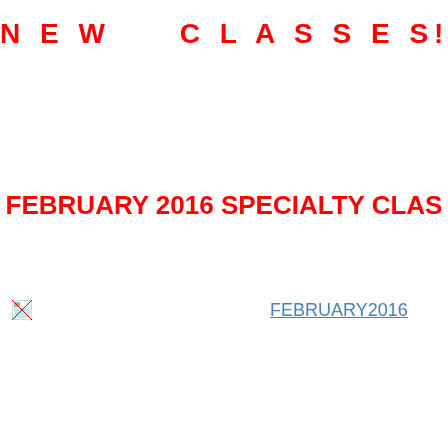N E W    C L A S S E S!
FEBRUARY 2016 SPECIALTY CLAS
[Figure (photo): Small broken image icon at bottom left]
FEBRUARY2016